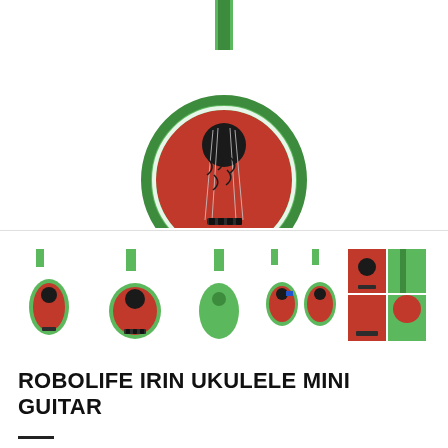[Figure (photo): Main product photo of a watermelon-shaped ukulele, showing the front view with red and green body, sound hole, and strings, on a white background.]
[Figure (photo): Thumbnail row showing five different views of the watermelon ukulele: front-angled view, front view, back/neck view (green), two ukuleles side by side, and close-up detail shots.]
ROBOLIFE IRIN UKULELE MINI GUITAR